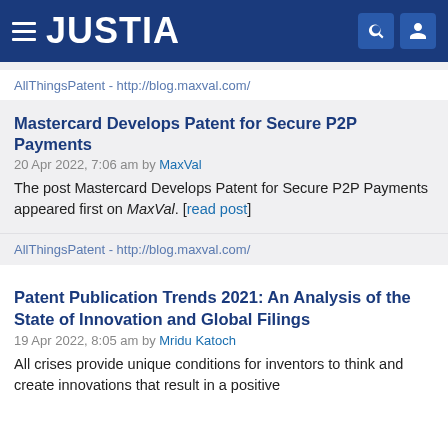JUSTIA
AllThingsPatent - http://blog.maxval.com/
Mastercard Develops Patent for Secure P2P Payments
20 Apr 2022, 7:06 am by MaxVal
The post Mastercard Develops Patent for Secure P2P Payments appeared first on MaxVal. [read post]
AllThingsPatent - http://blog.maxval.com/
Patent Publication Trends 2021: An Analysis of the State of Innovation and Global Filings
19 Apr 2022, 8:05 am by Mridu Katoch
All crises provide unique conditions for inventors to think and create innovations that result in a positive